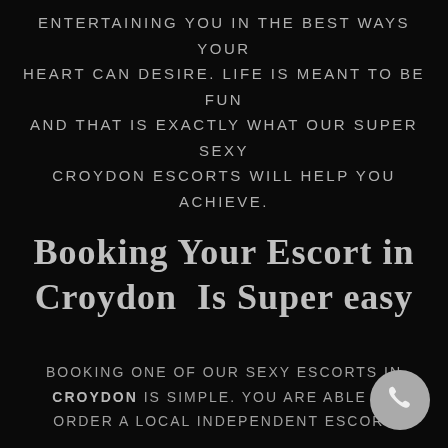ENTERTAINING YOU IN THE BEST WAYS YOUR HEART CAN DESIRE. LIFE IS MEANT TO BE FUN AND THAT IS EXACTLY WHAT OUR SUPER SEXY CROYDON ESCORTS WILL HELP YOU ACHIEVE.
Booking Your Escort in Croydon Is Super easy
Booking one of our sexy escorts in CROYDON is simple. You are able to order a local independent escort